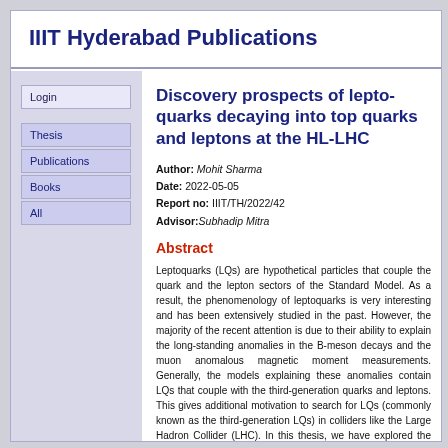IIIT Hyderabad Publications
Login
Thesis
Publications
Books
All
Discovery prospects of leptoquarks decaying into top quarks and leptons at the HL-LHC
Author: Mohit Sharma
Date: 2022-05-05
Report no: IIIT/TH/2022/42
Advisor: Subhadip Mitra
Abstract
Leptoquarks (LQs) are hypothetical particles that couple the quark and the lepton sectors of the Standard Model. As a result, the phenomenology of leptoquarks is very interesting and has been extensively studied in the past. However, the majority of the recent attention is due to their ability to explain the long-standing anomalies in the B-meson decays and the muon anomalous magnetic moment measurements. Generally, the models explaining these anomalies contain LQs that couple with the third-generation quarks and leptons. This gives additional motivation to search for LQs (commonly known as the third-generation LQs) in colliders like the Large Hadron Collider (LHC). In this thesis, we have explored the prospects of identifying the third-